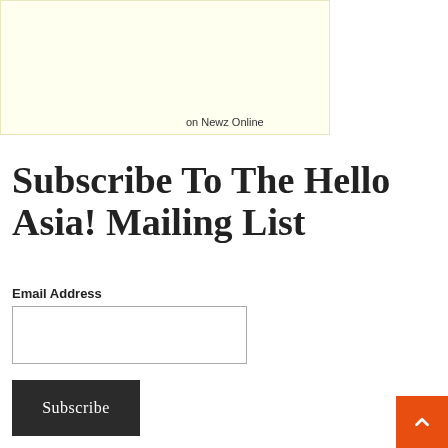[Figure (other): Light yellow advertisement banner with text 'on Newz Online']
Subscribe To The Hello Asia! Mailing List
Email Address
Subscribe